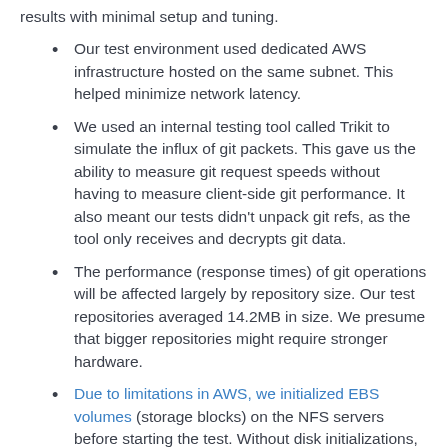results with minimal setup and tuning.
Our test environment used dedicated AWS infrastructure hosted on the same subnet. This helped minimize network latency.
We used an internal testing tool called Trikit to simulate the influx of git packets. This gave us the ability to measure git request speeds without having to measure client-side git performance. It also meant our tests didn't unpack git refs, as the tool only receives and decrypts git data.
The performance (response times) of git operations will be affected largely by repository size. Our test repositories averaged 14.2MB in size. We presume that bigger repositories might require stronger hardware.
Due to limitations in AWS, we initialized EBS volumes (storage blocks) on the NFS servers before starting the test. Without disk initializations, there is a significant increase in disk latency and test...